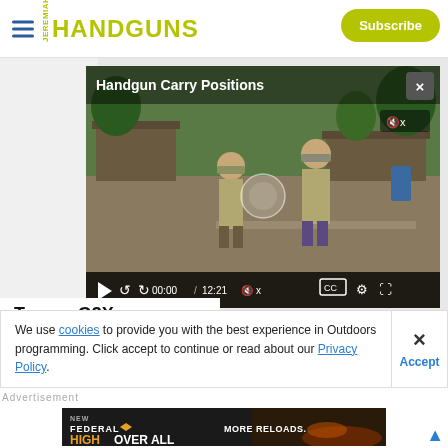HANDGUNS — Subscribe
[Figure (screenshot): Video player showing 'Handgun Carry Positions' with two men at an outdoor shooting range. Video controls show 00:00 / 12:21. A close button (x) is in the top right of the player area.]
Taurus G3X First Look
We use cookies to provide you with the best experience in Outdoors programming. Click accept to continue or read about our Privacy Policy.
[Figure (illustration): Federal High Overall advertisement banner — black background with orange and white text reading 'NEW FEDERAL HIGH OVER ALL MORE RELOADS.' with a pellet/cartridge image on right side.]